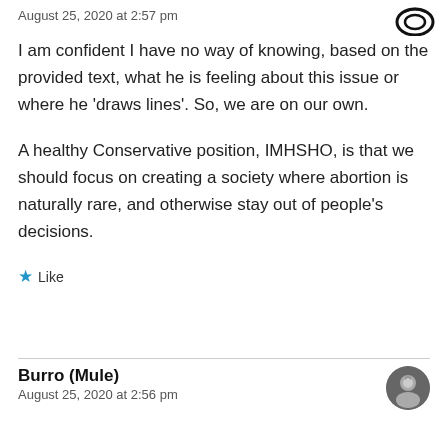August 25, 2020 at 2:57 pm
I am confident I have no way of knowing, based on the provided text, what he is feeling about this issue or where he ‘draws lines’. So, we are on our own.
A healthy Conservative position, IMHSHO, is that we should focus on creating a society where abortion is naturally rare, and otherwise stay out of people’s decisions.
★ Like
Burro (Mule)
August 25, 2020 at 2:56 pm